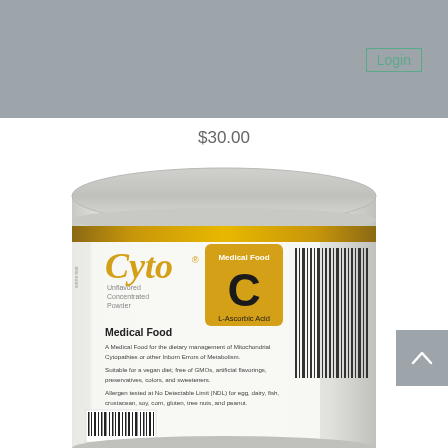Login
$30.00
[Figure (photo): A white cylindrical supplement container with the brand name 'Cyto' in gold italic font, featuring a gold 'C' badge labeled 'Medical Food' and 'L-Ascorbic Acid'. The label reads 'Medical Food' with descriptions about Mitochondrial Cytopathies and dietary management. The container has a gold stripe near the top and a barcode on the right side. The product is an Unflavored Concentrated Powder.]